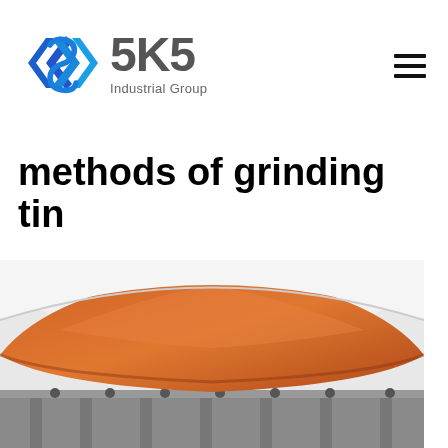[Figure (logo): SKS Industrial Group logo with blue angular S-shape icon and gray bold SKS text with 'Industrial Group' subtitle]
methods of grinding tin
[Figure (photo): Industrial grinding machinery with orange/copper colored conical grinding surface viewed from above, mounted on a gray metal frame structure]